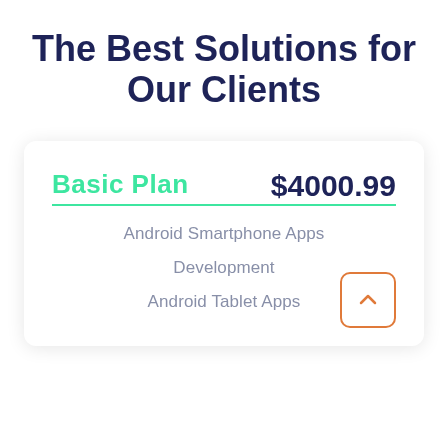The Best Solutions for Our Clients
Basic Plan
$4000.99
Android Smartphone Apps
Development
Android Tablet Apps